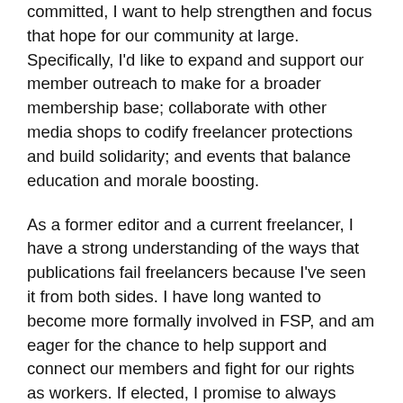committed, I want to help strengthen and focus that hope for our community at large. Specifically, I'd like to expand and support our member outreach to make for a broader membership base; collaborate with other media shops to codify freelancer protections and build solidarity; and events that balance education and morale boosting.
As a former editor and a current freelancer, I have a strong understanding of the ways that publications fail freelancers because I've seen it from both sides. I have long wanted to become more formally involved in FSP, and am eager for the chance to help support and connect our members and fight for our rights as workers. If elected, I promise to always prioritize the experiences and needs of our members and find ways to make our union more activated, because I believe that an engaged union is a strong union. I am deeply grateful for this group of people and want to serve it.